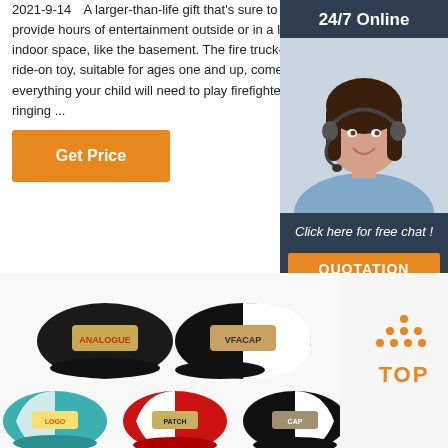2021-9-14  A larger-than-life gift that's sure to provide hours of entertainment outside or in a large indoor space, like the basement. The fire truck-style ride-on toy, suitable for ages one and up, comes with everything your child will need to play firefighter: a ringing ...
[Figure (other): Orange 'Get Price' button]
[Figure (other): Sidebar advertisement with '24/7 Online' header, photo of a smiling woman with headset, 'Click here for free chat!' text, and an orange 'QUOTATION' button on dark blue background]
[Figure (photo): Five trucker-style baseball caps with patches: two in top row (black with 'ANALOGUE' patch, black/white with 'VFACAP' patch), three in bottom row (teal, red/white, black/white with various patches)]
[Figure (logo): Orange dots arranged in a triangle pattern above the word 'TOP' in orange bold text — a 'back to top' button]